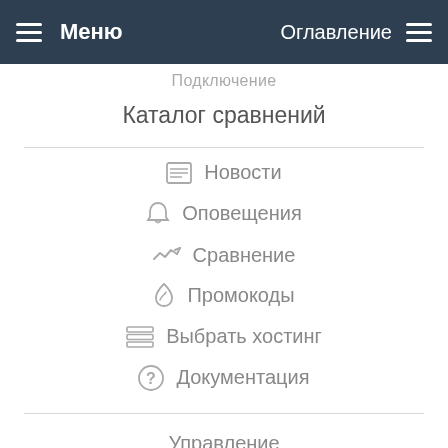Меню   Оглавление
Подключение
Каталог сравнений
Новости
Оповещения
Сравнение
Промокоды
Выбрать хостинг
Документация
Управление